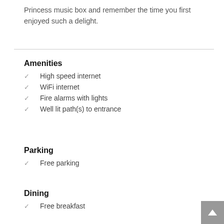Princess music box and remember the time you first enjoyed such a delight.
Amenities
High speed internet
WiFi internet
Fire alarms with lights
Well lit path(s) to entrance
Parking
Free parking
Dining
Free breakfast